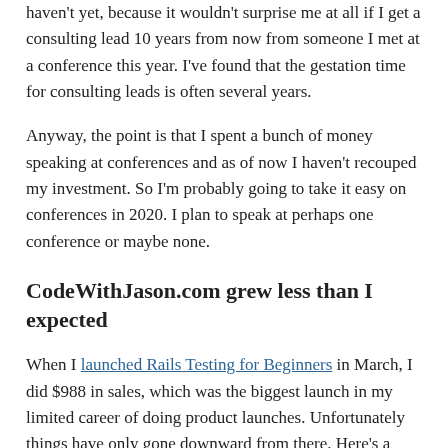haven't yet, because it wouldn't surprise me at all if I get a consulting lead 10 years from now from someone I met at a conference this year. I've found that the gestation time for consulting leads is often several years.
Anyway, the point is that I spent a bunch of money speaking at conferences and as of now I haven't recouped my investment. So I'm probably going to take it easy on conferences in 2020. I plan to speak at perhaps one conference or maybe none.
CodeWithJason.com grew less than I expected
When I launched Rails Testing for Beginners in March, I did $988 in sales, which was the biggest launch in my limited career of doing product launches. Unfortunately things have only gone downward from there. Here's a graph of year-to-date sales.